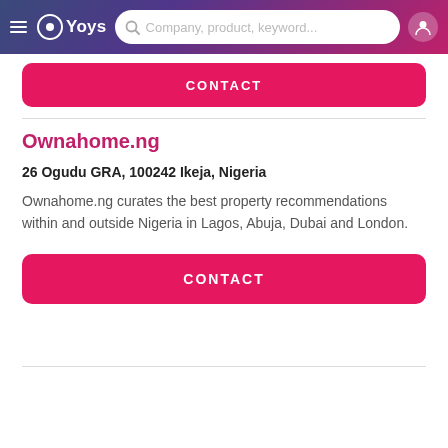OYoys — Company, product, keyword...
CONTACT
Ownahome.ng
26 Ogudu GRA, 100242 Ikeja, Nigeria
Ownahome.ng curates the best property recommendations within and outside Nigeria in Lagos, Abuja, Dubai and London.
CONTACT